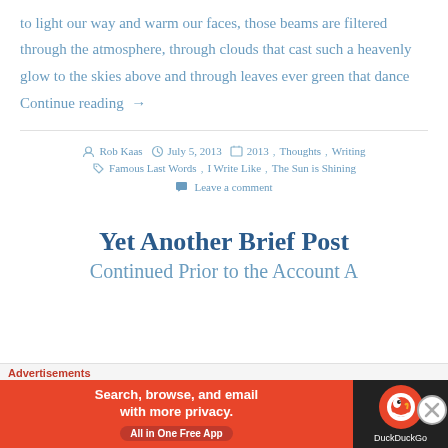to light our way and warm our faces, those beams are filtered through the atmosphere, through clouds that cast such a heavenly glow to the skies above and through leaves ever green that dance
Continue reading →
Rob Kaas  July 5, 2013  2013, Thoughts, Writing
Famous Last Words, I Write Like, The Sun is Shining
Leave a comment
Yet Another Brief Post
Continued Prior to the Account A…
Advertisements
[Figure (other): DuckDuckGo advertisement banner: orange background with text 'Search, browse, and email with more privacy. All in One Free App' and DuckDuckGo logo on dark background]